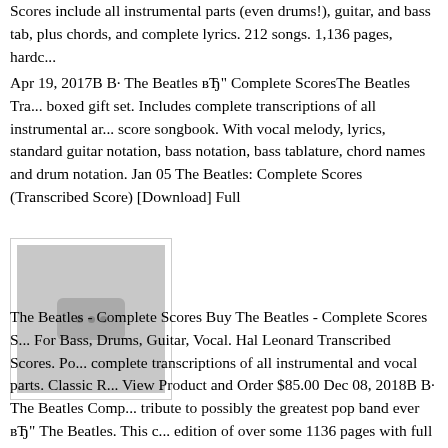Scores include all instrumental parts (even drums!), guitar, and bass tab, plus chords, and complete lyrics. 212 songs. 1,136 pages, hardc...
Apr 19, 2017B B· The Beatles вЂ" Complete ScoresThe Beatles Tra... boxed gift set. Includes complete transcriptions of all instrumental ar... score songbook. With vocal melody, lyrics, standard guitar notation, bass notation, bass tablature, chord names and drum notation. Jan 05 The Beatles: Complete Scores (Transcribed Score) [Download] Full
[Figure (other): Placeholder image with three dots icon on grey background]
The Beatles - Complete Scores Buy The Beatles - Complete Scores S... For Bass, Drums, Guitar, Vocal. Hal Leonard Transcribed Scores. Po... complete transcriptions of all instrumental and vocal parts. Classic R... View Product and Order $85.00 Dec 08, 2018B B· The Beatles Comp... tribute to possibly the greatest pop band ever вЂ" The Beatles. This c... edition of over some 1136 pages with full scores and bookings all B...